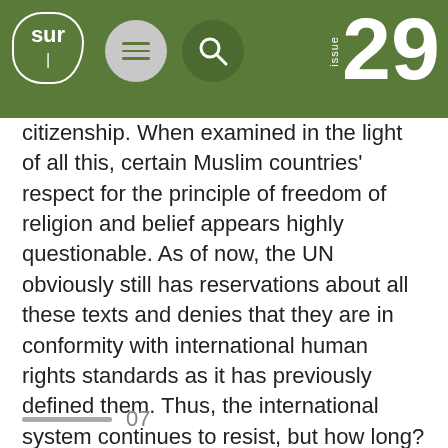SUR issue 29
citizenship. When examined in the light of all this, certain Muslim countries' respect for the principle of freedom of religion and belief appears highly questionable. As of now, the UN obviously still has reservations about all these texts and denies that they are in conformity with international human rights standards as it has previously defined them. Thus, the international system continues to resist, but how long?
07